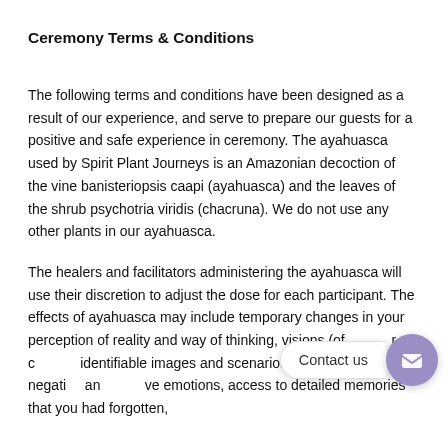Ceremony Terms & Conditions
The following terms and conditions have been designed as a result of our experience, and serve to prepare our guests for a positive and safe experience in ceremony. The ayahuasca used by Spirit Plant Journeys is an Amazonian decoction of the vine banisteriopsis caapi (ayahuasca) and the leaves of the shrub psychotria viridis (chacruna). We do not use any other plants in our ayahuasca.
The healers and facilitators administering the ayahuasca will use their discretion to adjust the dose for each participant. The effects of ayahuasca may include temporary changes in your perception of reality and way of thinking, visions (often vivid or clearly identifiable images and scenarios), heightened negative and positive emotions, access to detailed memories that you had forgotten,